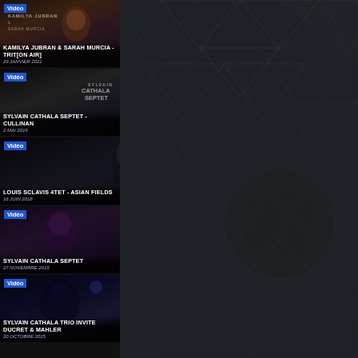[Figure (screenshot): Video thumbnail: Kamilya Jubran & Sarah Murcia - Trit[on Air], with badge 'Vidéo', title and date]
KAMILYA JUBRAN & SARAH MURCIA - TRIT[ON AIR]
29 JANVIER 2021
[Figure (screenshot): Video thumbnail: Sylvain Cathala Septet - Cullinan, with badge 'Vidéo', title and date]
SYLVAIN CATHALA SEPTET - CULLINAN
2 MAI 2019
[Figure (screenshot): Video thumbnail: Louis Sclavis 4tet - Asian Fields, with badge 'Vidéo', title and date]
LOUIS SCLAVIS 4TET - ASIAN FIELDS
16 JUIN 2018
[Figure (screenshot): Video thumbnail: Sylvain Cathala Septet, 27 Novembre 2015, with badge 'Vidéo', title and date]
SYLVAIN CATHALA SEPTET
27 NOVEMBRE 2015
[Figure (screenshot): Video thumbnail: Sylvain Cathala Trio Invite Ducret & Mahler, with badge 'Vidéo', title and partial date]
SYLVAIN CATHALA TRIO INVITE DUCRET & MAHLER
20 OCTOBRE 2015